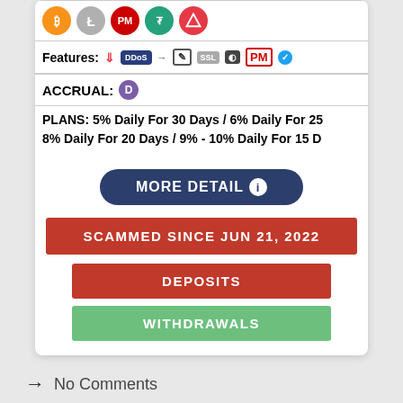[Figure (infographic): Row of cryptocurrency icons: Bitcoin (orange), Litecoin (gray), PM (red), Tether (green), Tron (red)]
Features: [DDоS protection icon] [script icon] [SSL icon] [traffic icons] [PM verified icon]
ACCRUAL: D
PLANS: 5% Daily For 30 Days / 6% Daily For 25 8% Daily For 20 Days / 9% - 10% Daily For 15 D
MORE DETAIL ℹ
SCAMMED SINCE JUN 21, 2022
DEPOSITS
WITHDRAWALS
No Comments